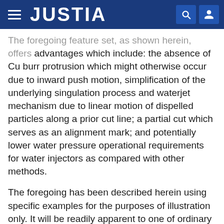JUSTIA
The foregoing feature set, as shown herein, offers advantages which include: the absence of Cu burr protrusion which might otherwise occur due to inward push motion, simplification of the underlying singulation process and waterjet mechanism due to linear motion of dispelled particles along a prior cut line; a partial cut which serves as an alignment mark; and potentially lower water pressure operational requirements for water injectors as compared with other methods.
The foregoing has been described herein using specific examples for the purposes of illustration only. It will be readily apparent to one of ordinary skill in the art, however, that the principles of the disclosure can be embodied in other ways. Therefore, the foregoing should not be regarded as being limited in scope to the specific examples disclosed herein, but instead as being fully commensurate in scope with the following claims